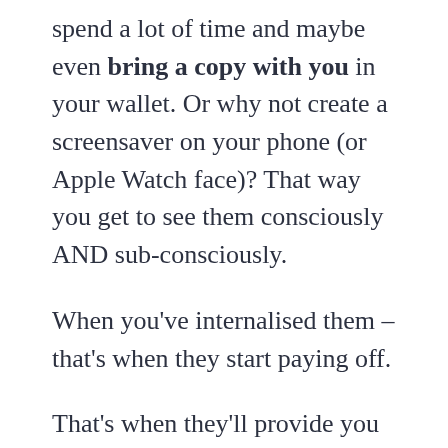spend a lot of time and maybe even bring a copy with you in your wallet. Or why not create a screensaver on your phone (or Apple Watch face)? That way you get to see them consciously AND sub-consciously.
When you've internalised them – that's when they start paying off.
That's when they'll provide you with the strength to stay on course. Or the self-belief to change and trust that you can handle things as they come. The clarity of why you're here and where you're heading – at least at